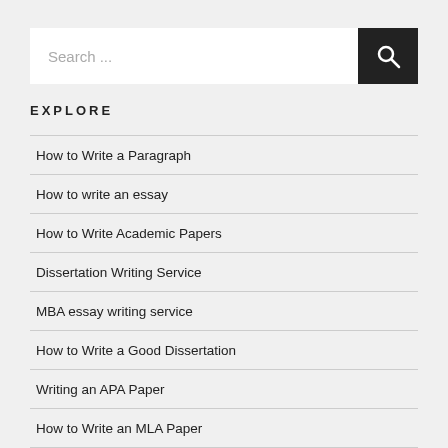[Figure (screenshot): Search bar with text placeholder 'Search ...' and a dark search button with magnifying glass icon]
EXPLORE
How to Write a Paragraph
How to write an essay
How to Write Academic Papers
Dissertation Writing Service
MBA essay writing service
How to Write a Good Dissertation
Writing an APA Paper
How to Write an MLA Paper
How to Write a Business Essay
How to Write a Management Essay
How to Write a Marketing Essay